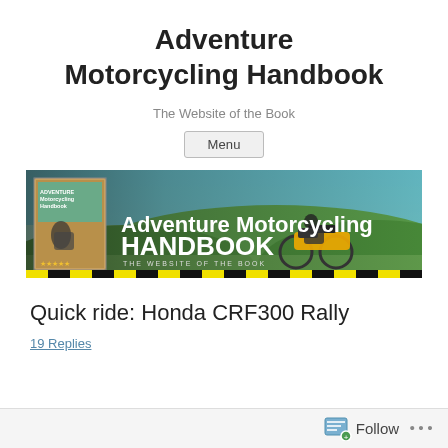Adventure Motorcycling Handbook
The Website of the Book
Menu
[Figure (photo): Banner image for Adventure Motorcycling Handbook website showing a yellow motorcycle on a hillside with text 'Adventure Motorcycling HANDBOOK – THE WEBSITE OF THE BOOK' overlaid, and a smaller book cover on the left.]
Quick ride: Honda CRF300 Rally
19 Replies
Follow ...